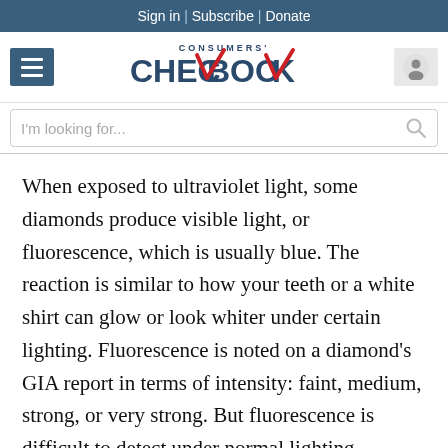Sign in | Subscribe | Donate
[Figure (logo): Consumers' Checkbook logo with hamburger menu and user icon]
I'm looking for...
When exposed to ultraviolet light, some diamonds produce visible light, or fluorescence, which is usually blue. The reaction is similar to how your teeth or a white shirt can glow or look whiter under certain lighting. Fluorescence is noted on a diamond’s GIA report in terms of intensity: faint, medium, strong, or very strong. But fluorescence is difficult to detect under normal lighting conditions and doesn’t affect a diamond’s color grade.
Because fluorescence doesn’t act the same way in all